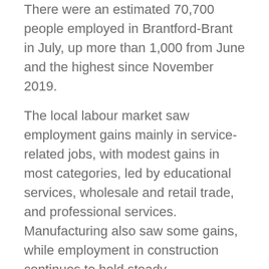There were an estimated 70,700 people employed in Brantford-Brant in July, up more than 1,000 from June and the highest since November 2019.
The local labour market saw employment gains mainly in service-related jobs, with modest gains in most categories, led by educational services, wholesale and retail trade, and professional services. Manufacturing also saw some gains, while employment in construction continues to hold steady.
July 2022 employment gains were in full-time work, with part-time